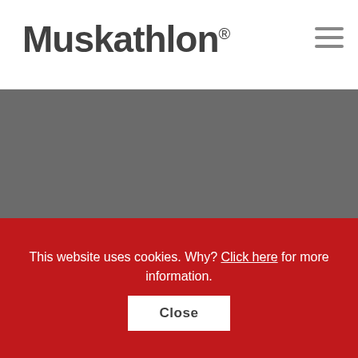Muskathlon®
[Figure (photo): Gray hero banner image area]
Register
Choose your Muskathlon
This website uses cookies. Why? Click here for more information.
Close